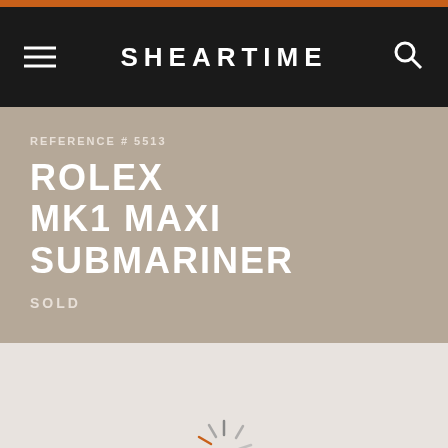SHEARTIME
REFERENCE # 5513
ROLEX MK1 MAXI SUBMARINER
SOLD
[Figure (other): Loading spinner animation — a circular arrangement of short line segments in grey and one orange segment, indicating content is loading]